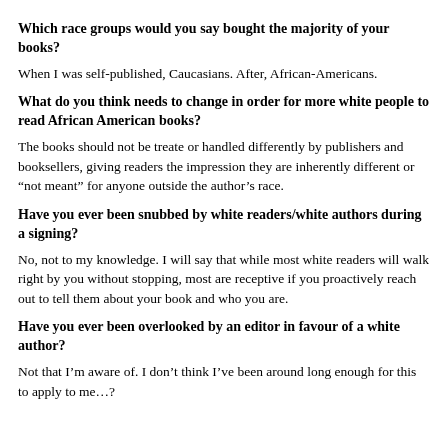Which race groups would you say bought the majority of your books?
When I was self-published, Caucasians. After, African-Americans.
What do you think needs to change in order for more white people to read African American books?
The books should not be treate or handled differently by publishers and booksellers, giving readers the impression they are inherently different or “not meant” for anyone outside the author’s race.
Have you ever been snubbed by white readers/white authors during a signing?
No, not to my knowledge. I will say that while most white readers will walk right by you without stopping, most are receptive if you proactively reach out to tell them about your book and who you are.
Have you ever been overlooked by an editor in favour of a white author?
Not that I’m aware of. I don’t think I’ve been around long enough for this to apply to me…?